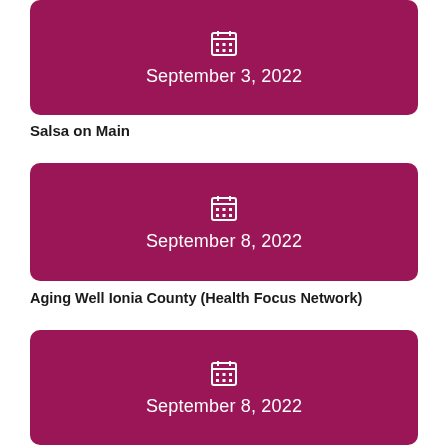[Figure (other): Dark pink/magenta card with calendar icon and date 'September 3, 2022']
Salsa on Main
[Figure (other): Dark pink/magenta card with calendar icon and date 'September 8, 2022']
Aging Well Ionia County (Health Focus Network)
[Figure (other): Dark pink/magenta card with calendar icon and date 'September 8, 2022']
Ionia Jaycees General Member Meeting & Trivia